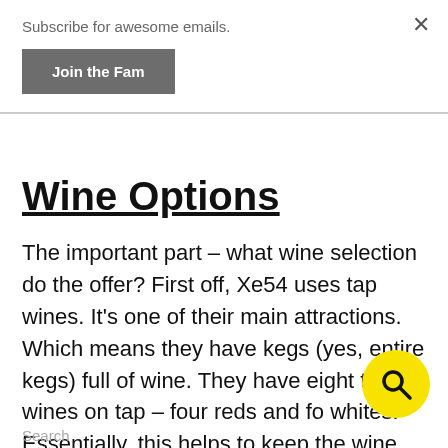Subscribe for awesome emails.
Join the Fam
Wine Options
The important part – what wine selection do the offer? First off, Xe54 uses tap wines. It's one of their main attractions. Which means they have kegs (yes, entire kegs) full of wine. They have eight total wines on tap – four reds and fo whites. Essentially, this helps to keep the wine
Search